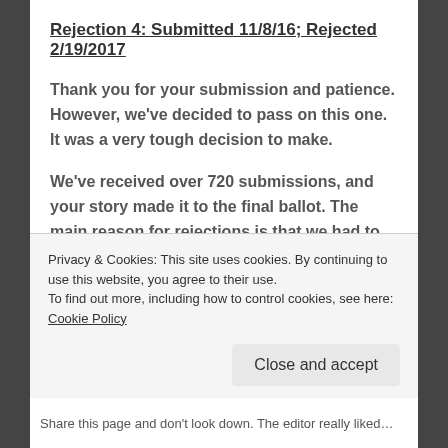Rejection 4: Submitted 11/8/16; Rejected 2/19/2017
Thank you for your submission and patience. However, we've decided to pass on this one. It was a very tough decision to make.
We've received over 720 submissions, and your story made it to the final ballot. The main reason for rejections is that we had to find the best ghost/creature/human-horror/literary/fantastical
Privacy & Cookies: This site uses cookies. By continuing to use this website, you agree to their use.
To find out more, including how to control cookies, see here: Cookie Policy